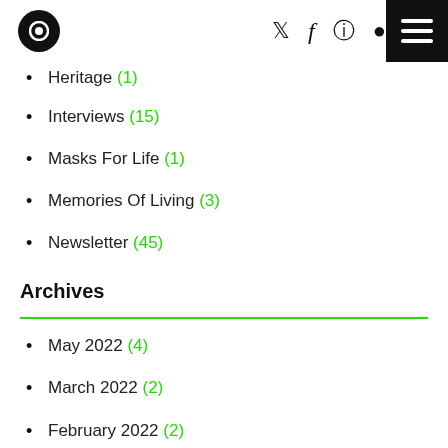Logo and navigation icons
Heritage (1)
Interviews (15)
Masks For Life (1)
Memories Of Living (3)
Newsletter (45)
Archives
May 2022 (4)
March 2022 (2)
February 2022 (2)
October 2021 (1)
August 2021 (1)
July 2021 (1)